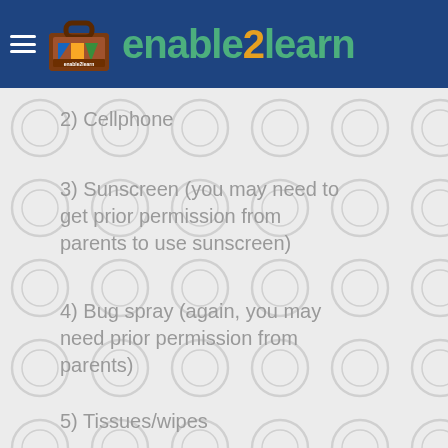enable2learn
2) Cellphone
3) Sunscreen (you may need to get prior permission from parents to use sunscreen)
4) Bug spray (again, you may need prior permission from parents)
5) Tissues/wipes